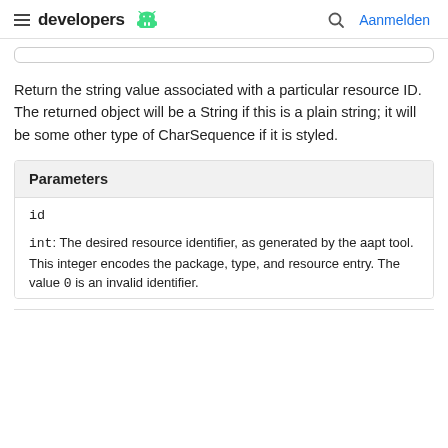developers | Aanmelden
Return the string value associated with a particular resource ID. The returned object will be a String if this is a plain string; it will be some other type of CharSequence if it is styled.
| Parameters |
| --- |
| id | int: The desired resource identifier, as generated by the aapt tool. This integer encodes the package, type, and resource entry. The value 0 is an invalid identifier. |
int: The desired resource identifier, as generated by the aapt tool. This integer encodes the package, type, and resource entry. The value 0 is an invalid identifier.